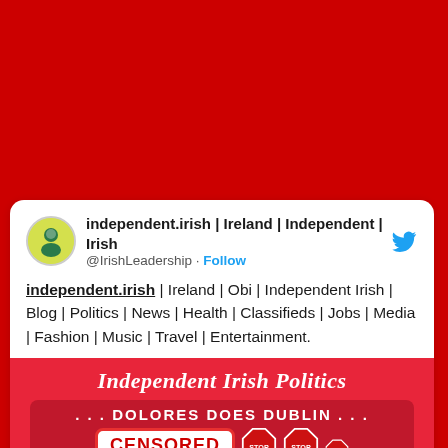[Figure (screenshot): Red background header area of Twitter/social media card]
independent.irish | Ireland | Independent | Irish
@IrishLeadership · Follow
independent.irish | Ireland | Obi | Independent Irish | Blog | Politics | News | Health | Classifieds | Jobs | Media | Fashion | Music | Travel | Entertainment.
[Figure (infographic): Red banner reading 'Independent Irish Politics' with sub-image showing '... DOLORES DOES DUBLIN ...' text and a CENSORED badge overlaid on a photo, with STOP signs visible]